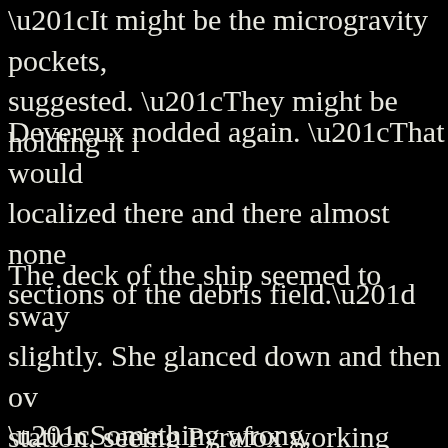“It might be the microgravity pockets, suggested. “They might be holding it i
Devereux nodded again. “That would localized there and there almost none sections of the debris field.”
The deck of the ship seemed to sway slightly. She glanced down and then ov station, seeing Pyrafox working furiou console.
“Something wrong, Lieutenant?”